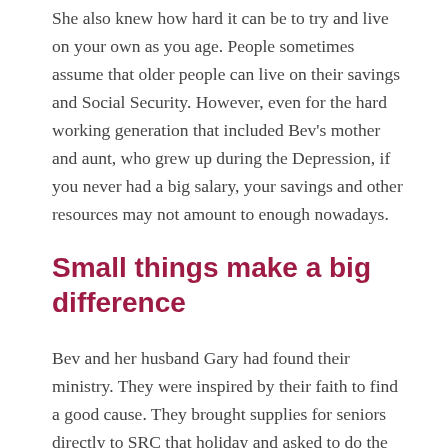She also knew how hard it can be to try and live on your own as you age. People sometimes assume that older people can live on their savings and Social Security. However, even for the hard working generation that included Bev's mother and aunt, who grew up during the Depression, if you never had a big salary, your savings and other resources may not amount to enough nowadays.
Small things make a big difference
Bev and her husband Gary had found their ministry. They were inspired by their faith to find a good cause. They brought supplies for seniors directly to SRC that holiday and asked to do the same every month. Taking care of seniors would be their ongoing project.